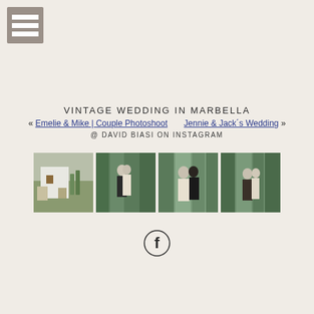[Figure (logo): Hamburger/menu icon — three horizontal white bars on a grey-brown square background]
VINTAGE WEDDING IN MARBELLA
« Emelie & Mike | Couple Photoshoot     Jennie & Jack´s Wedding »
@ DAVID BIASI ON INSTAGRAM
[Figure (photo): Four Instagram thumbnail photos side by side: white rustic building exterior; couple kissing among tall cacti; couple kissing among cacti close-up; couple standing among cacti]
[Figure (logo): Facebook circular logo icon]